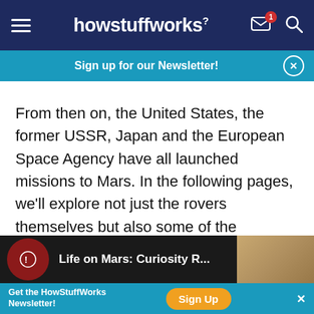[Figure (screenshot): HowStuffWorks navigation bar with hamburger menu, logo, mail icon with badge '1', and search icon on dark navy background]
[Figure (screenshot): Teal banner reading 'Sign up for our Newsletter!' with close button]
From then on, the United States, the former USSR, Japan and the European Space Agency have all launched missions to Mars. In the following pages, we'll explore not just the rovers themselves but also some of the discoveries they made. Let's roll to the next page to see why, exactly, we're sending rovers in the first place.
[Figure (screenshot): Video thumbnail bar at bottom showing partial title text 'Life on Mars: Curiosity R...' on dark background]
[Figure (screenshot): Bottom advertisement bar: 'Get the HowStuffWorks Newsletter!' with orange 'Sign Up' button and close X]